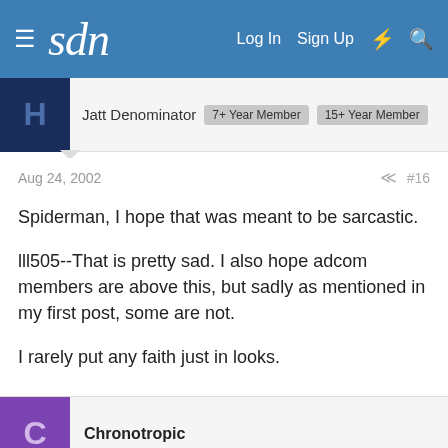sdn — Log In  Sign Up
Jatt Denominator  7+ Year Member  15+ Year Member
Aug 24, 2002  #16
Spiderman, I hope that was meant to be sarcastic.

lll505--That is pretty sad. I also hope adcom members are above this, but sadly as mentioned in my first post, some are not.

I rarely put any faith just in looks.
Chronotropic
Aug 24, 2002  #17
Originally posted by Harps